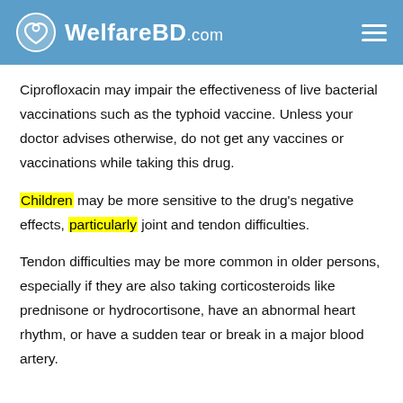WelfareBD.com
Ciprofloxacin may impair the effectiveness of live bacterial vaccinations such as the typhoid vaccine. Unless your doctor advises otherwise, do not get any vaccines or vaccinations while taking this drug.
Children may be more sensitive to the drug's negative effects, particularly joint and tendon difficulties.
Tendon difficulties may be more common in older persons, especially if they are also taking corticosteroids like prednisone or hydrocortisone, have an abnormal heart rhythm, or have a sudden tear or break in a major blood artery.